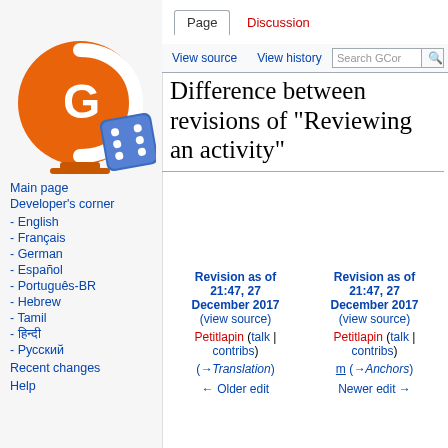Log in
[Figure (logo): GCom logo: orange globe with white G letter and blue dice]
Main page
Developer's corner
- English
- Français
- German
- Español
- Português-BR
- Hebrew
- Tamil
- हिन्दी
- Русский
Recent changes
Help
Difference between revisions of "Reviewing an activity"
| Revision as of 21:47, 27 December 2017 (view source) | Revision as of 21:47, 27 December 2017 (view source) |
| --- | --- |
| Petitlapin (talk | contribs) | Petitlapin (talk | contribs) |
| (→Translation) | m (→Anchors) |
| ← Older edit | Newer edit → |